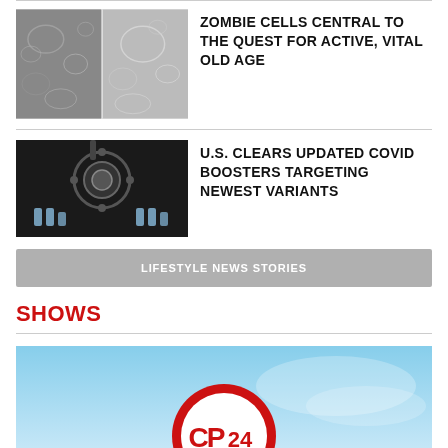[Figure (photo): Two side-by-side microscopy images of zombie cells]
ZOMBIE CELLS CENTRAL TO THE QUEST FOR ACTIVE, VITAL OLD AGE
[Figure (photo): Close-up photo of COVID vaccine vials and machinery]
U.S. CLEARS UPDATED COVID BOOSTERS TARGETING NEWEST VARIANTS
LIFESTYLE NEWS STORIES
SHOWS
[Figure (logo): CP24 logo on a light blue sky background]